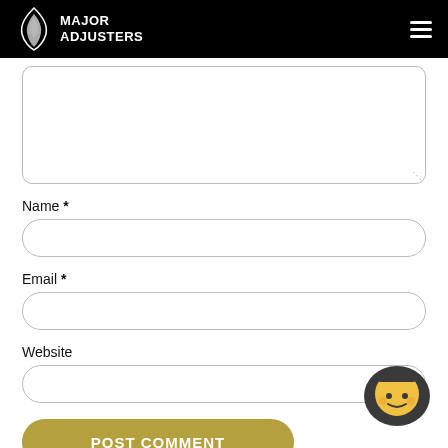MAJOR ADJUSTERS
Name *
Email *
Website
POST COMMENT